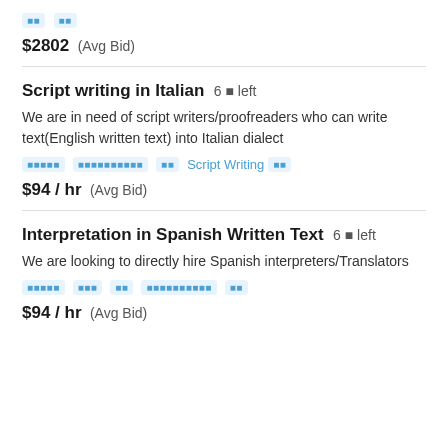[tag] [tag]
$2802  (Avg Bid)
Script writing in Italian  6 ■ left
We are in need of script writers/proofreaders who can write text(English written text) into Italian dialect
[tag] [tag] [tag] Script Writing [tag]
$94 / hr  (Avg Bid)
Interpretation in Spanish Written Text  6 ■ left
We are looking to directly hire Spanish interpreters/Translators
[tag] [tag] [tag] [tag] [tag]
$94 / hr  (Avg Bid)